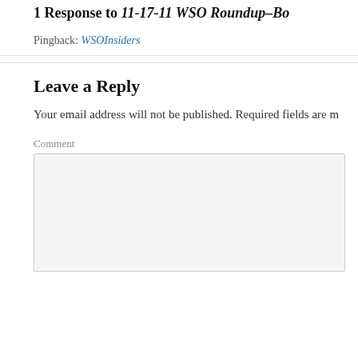1 Response to 11-17-11 WSO Roundup–Bo…
Pingback: WSOInsiders
Leave a Reply
Your email address will not be published. Required fields are m…
Comment